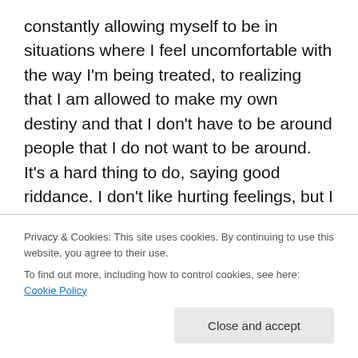constantly allowing myself to be in situations where I feel uncomfortable with the way I'm being treated, to realizing that I am allowed to make my own destiny and that I don't have to be around people that I do not want to be around. It's a hard thing to do, saying good riddance. I don't like hurting feelings, but I also do not like getting my feelings hurt. I'm coming to terms with deleting people that I talk to on social networks, and removing unnecessary contention from people that I do not agree with or appreciate. Being constantly torn down is not something that I have to put up with, surrounding myself with people who love me and
Privacy & Cookies: This site uses cookies. By continuing to use this website, you agree to their use.
To find out more, including how to control cookies, see here: Cookie Policy